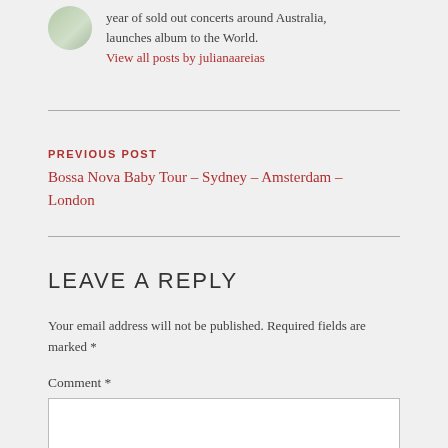year of sold out concerts around Australia, launches album to the World.
View all posts by julianaareias
PREVIOUS POST
Bossa Nova Baby Tour – Sydney – Amsterdam – London
LEAVE A REPLY
Your email address will not be published. Required fields are marked *
Comment *